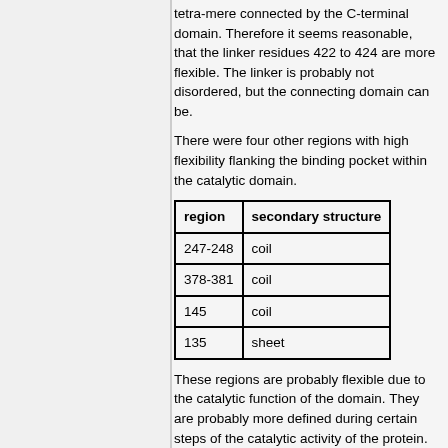tetra-mere connected by the C-terminal domain. Therefore it seems reasonable, that the linker residues 422 to 424 are more flexible. The linker is probably not disordered, but the connecting domain can be.
There were four other regions with high flexibility flanking the binding pocket within the catalytic domain.
| region | secondary structure |
| --- | --- |
| 247-248 | coil |
| 378-381 | coil |
| 145 | coil |
| 135 | sheet |
These regions are probably flexible due to the catalytic function of the domain. They are probably more defined during certain steps of the catalytic activity of the protein. Their flexibility is probably necessary to keep the solvent away from the binding pocket. At least no method predicted these sites to be disordered.